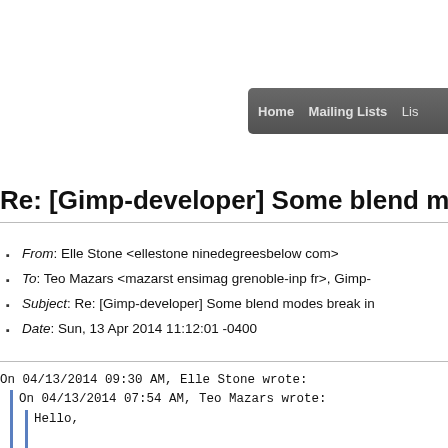Home  Mailing Lists  Lis
Re: [Gimp-developer] Some blend mo
From: Elle Stone <ellestone ninedegreesbelow com>
To: Teo Mazars <mazarst ensimag grenoble-inp fr>, Gimp-
Subject: Re: [Gimp-developer] Some blend modes break in
Date: Sun, 13 Apr 2014 11:12:01 -0400
On 04/13/2014 09:30 AM, Elle Stone wrote:
  On 04/13/2014 07:54 AM, Teo Mazars wrote:
    Hello,

    In the strongly color managed world of BABL and